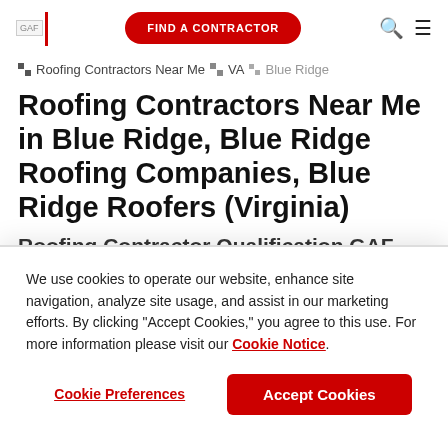GAF | FIND A CONTRACTOR
Roofing Contractors Near Me › VA › Blue Ridge
Roofing Contractors Near Me in Blue Ridge, Blue Ridge Roofing Companies, Blue Ridge Roofers (Virginia)
We use cookies to operate our website, enhance site navigation, analyze site usage, and assist in our marketing efforts. By clicking "Accept Cookies," you agree to this use. For more information please visit our Cookie Notice.
Cookie Preferences  Accept Cookies